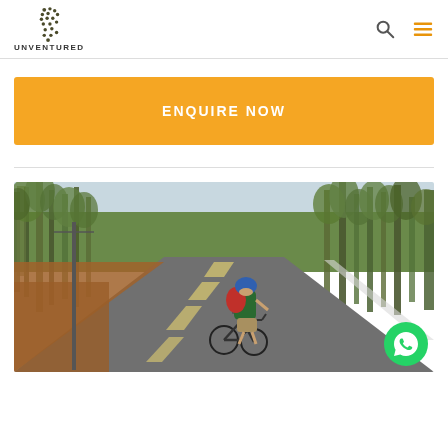[Figure (logo): Unventured logo with footprint icon above the text UNVENTURED]
ENQUIRE NOW
[Figure (photo): A cyclist wearing a blue helmet and red backpack riding a bicycle on a road flanked by tall eucalyptus trees on both sides, viewed from behind. The road recedes into the distance with a white dashed line. Dry reddish-brown terrain visible on the left side.]